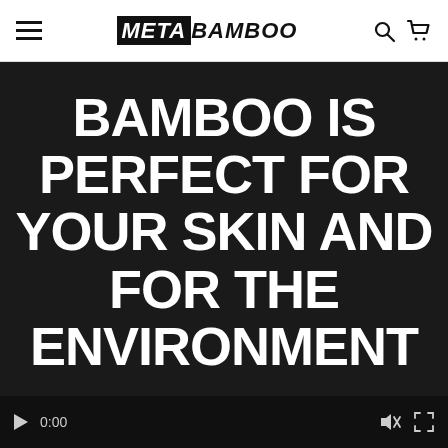META BAMBOO
[Figure (screenshot): Video player with dark background showing large white bold text: BAMBOO IS PERFECT FOR YOUR SKIN AND FOR THE ENVIRONMENT (partially visible). Video controls visible at bottom including play button, 0:00 timestamp, mute icon, and fullscreen icon.]